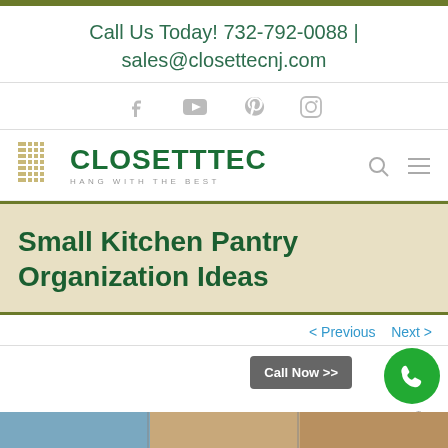Call Us Today! 732-792-0088 | sales@closettecnj.com
[Figure (logo): Social media icons: Facebook, YouTube, Pinterest, Instagram]
[Figure (logo): Closettec logo with text HANG WITH THE BEST and grid icon]
Small Kitchen Pantry Organization Ideas
< Previous   Next >
Call Now >>
[Figure (photo): Partial bottom image strip showing kitchen/pantry photos]